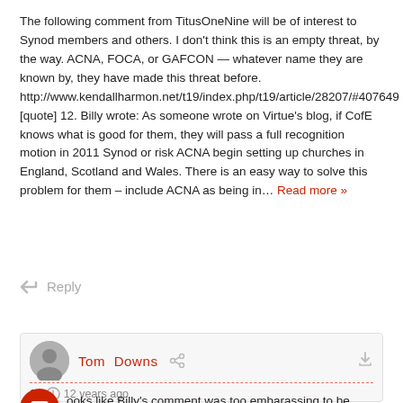The following comment from TitusOneNine will be of interest to Synod members and others. I don't think this is an empty threat, by the way. ACNA, FOCA, or GAFCON — whatever name they are known by, they have made this threat before. http://www.kendallharmon.net/t19/index.php/t19/article/28207/#407649 [quote] 12. Billy wrote: As someone wrote on Virtue's blog, if CofE knows what is good for them, they will pass a full recognition motion in 2011 Synod or risk ACNA begin setting up churches in England, Scotland and Wales. There is an easy way to solve this problem for them – include ACNA as being in… Read more »
Reply
Tom Downs
12 years ago
ooks like Billy's comment was too embarassing to be allowed to stay. Gone now. Is this how the Chapman Memo leaked?